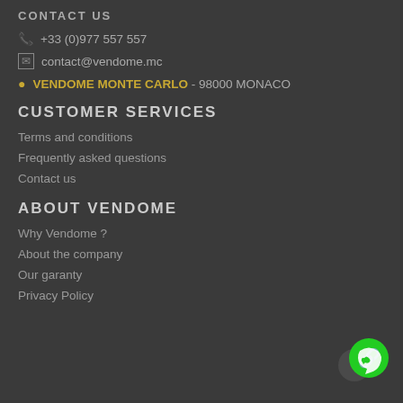CONTACT US
+33 (0)977 557 557
contact@vendome.mc
VENDOME MONTE CARLO - 98000 MONACO
CUSTOMER SERVICES
Terms and conditions
Frequently asked questions
Contact us
ABOUT VENDOME
Why Vendome ?
About the company
Our garanty
Privacy Policy